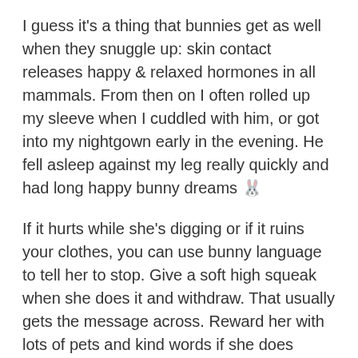I guess it's a thing that bunnies get as well when they snuggle up: skin contact releases happy & relaxed hormones in all mammals. From then on I often rolled up my sleeve when I cuddled with him, or got into my nightgown early in the evening. He fell asleep against my leg really quickly and had long happy bunny dreams 🐰
If it hurts while she's digging or if it ruins your clothes, you can use bunny language to tell her to stop. Give a soft high squeak when she does it and withdraw. That usually gets the message across. Reward her with lots of pets and kind words if she does something right.
You can also make purring sounds at your rabbit, and they'll likely purr along with you. Thus far all rabbits I've met started to purr back when I did it, and they warmed up to me quickly.